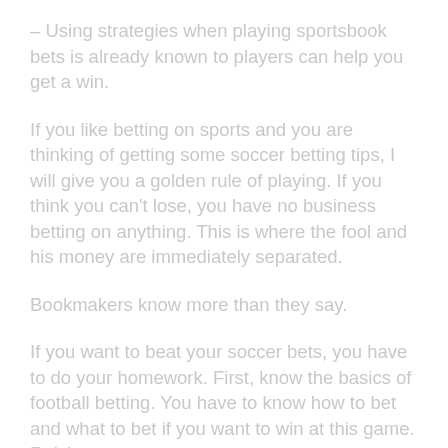– Using strategies when playing sportsbook bets is already known to players can help you get a win.
If you like betting on sports and you are thinking of getting some soccer betting tips, I will give you a golden rule of playing. If you think you can't lose, you have no business betting on anything. This is where the fool and his money are immediately separated.
Bookmakers know more than they say.
If you want to beat your soccer bets, you have to do your homework. First, know the basics of football betting. You have to know how to bet and what to bet if you want to win at this game. Relying on your